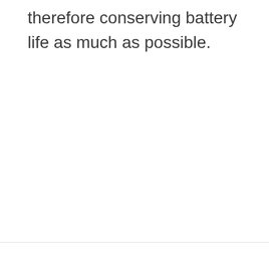therefore conserving battery life as much as possible.